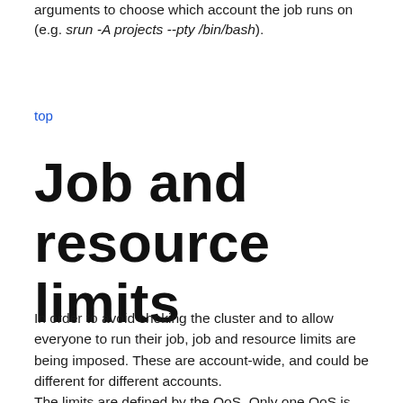arguments to choose which account the job runs on (e.g. srun -A projects --pty /bin/bash).
top
Job and resource limits
In order to avoid choking the cluster and to allow everyone to run their job, job and resource limits are being imposed. These are account-wide, and could be different for different accounts.
The limits are defined by the QoS. Only one QoS is